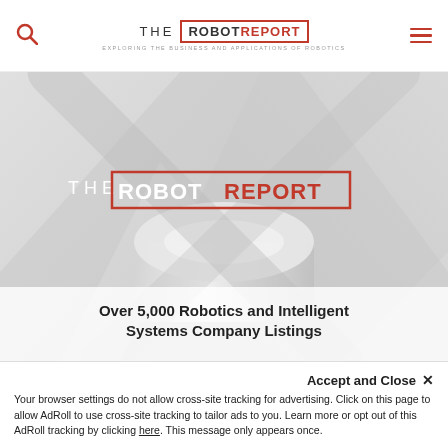THE ROBOT REPORT — EXPLORING THE BUSINESS AND APPLICATIONS OF ROBOTICS
[Figure (illustration): The Robot Report branded image with robotic/mechanical background in light grey tones. Shows THE ROBOT REPORT logo with red border box. Caption reads: Over 5,000 Robotics and Intelligent Systems Company Listings]
Over 5,000 Robotics and Intelligent Systems Company Listings
Accept and Close ×
Your browser settings do not allow cross-site tracking for advertising. Click on this page to allow AdRoll to use cross-site tracking to tailor ads to you. Learn more or opt out of this AdRoll tracking by clicking here. This message only appears once.